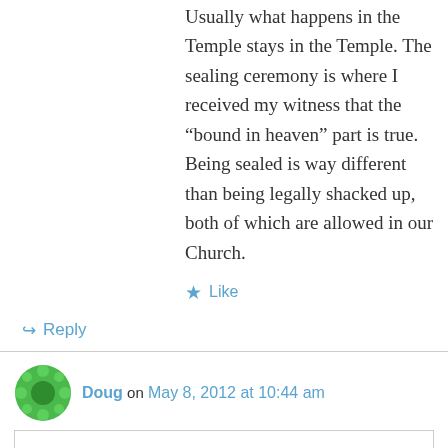Usually what happens in the Temple stays in the Temple. The sealing ceremony is where I received my witness that the “bound in heaven” part is true. Being sealed is way different than being legally shacked up, both of which are allowed in our Church.
★ Like
↳ Reply
Doug on May 8, 2012 at 10:44 am
Privacy & Cookies: This site uses cookies. By continuing to use this website, you agree to their use.
To find out more, including how to control cookies, see here: Cookie Policy
Close and accept
presence of God our Father. We have been